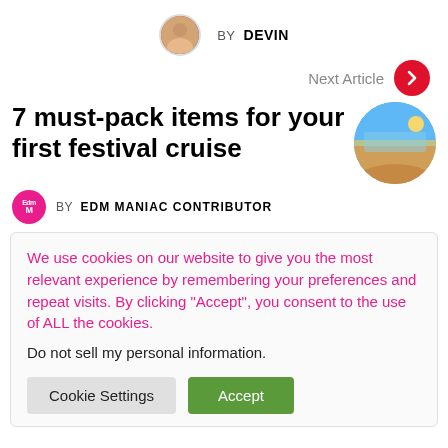BY DEVIN
Next Article
7 must-pack items for your first festival cruise
BY EDM MANIAC CONTRIBUTOR
We use cookies on our website to give you the most relevant experience by remembering your preferences and repeat visits. By clicking “Accept”, you consent to the use of ALL the cookies.
Do not sell my personal information.
Cookie Settings
Accept